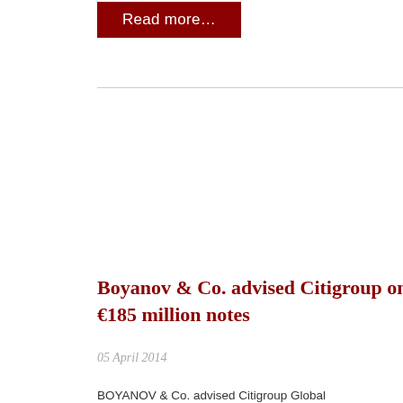Read more…
Boyanov & Co. advised Citigroup on €185 million notes
05 April 2014
BOYANOV & Co. advised Citigroup Global